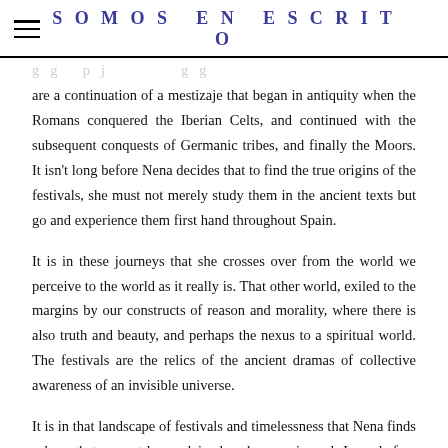SOMOS EN ESCRITO
are a continuation of a mestizaje that began in antiquity when the Romans conquered the Iberian Celts, and continued with the subsequent conquests of Germanic tribes, and finally the Moors. It isn't long before Nena decides that to find the true origins of the festivals, she must not merely study them in the ancient texts but go and experience them first hand throughout Spain.
It is in these journeys that she crosses over from the world we perceive to the world as it really is. That other world, exiled to the margins by our constructs of reason and morality, where there is also truth and beauty, and perhaps the nexus to a spiritual world. The festivals are the relics of the ancient dramas of collective awareness of an invisible universe.
It is in that landscape of festivals and timelessness that Nena finds a love that cannot be explained, only experienced. Love before Logos, reason, history, and politics. It is the descent into the body of another who is not only meant for us, but has authored the secrets of our psyche. Someone only you can recognize because